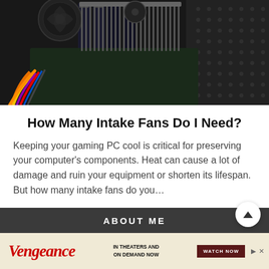[Figure (photo): Inside view of a gaming PC case showing motherboard, RAM sticks, colorful cables (orange, yellow, purple), CPU cooler fan, and mesh side panel.]
How Many Intake Fans Do I Need?
Keeping your gaming PC cool is critical for preserving your computer’s components. Heat can cause a lot of damage and ruin your equipment or shorten its lifespan. But how many intake fans do you…
CONTINUE READING
ABOUT ME
[Figure (screenshot): Advertisement banner for 'Vengeance' movie: 'IN THEATERS AND ON DEMAND NOW' with 'WATCH NOW' button.]